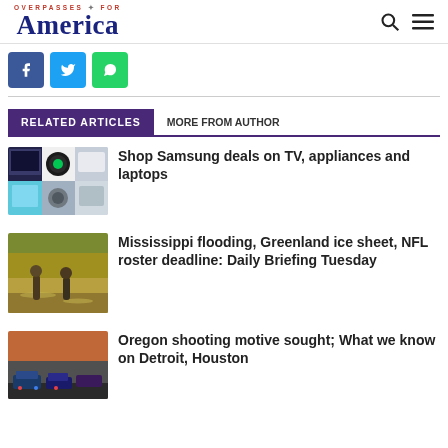OVERPASSES FOR America
[Figure (screenshot): Social share buttons: Facebook (blue), Twitter (cyan/blue), WhatsApp (green)]
RELATED ARTICLES   MORE FROM AUTHOR
[Figure (photo): Samsung product collage showing laptop, watch, tablet, TV, and appliance]
Shop Samsung deals on TV, appliances and laptops
[Figure (photo): People wading through floodwaters during Mississippi flooding]
Mississippi flooding, Greenland ice sheet, NFL roster deadline: Daily Briefing Tuesday
[Figure (photo): Police cars at scene related to Oregon shooting]
Oregon shooting motive sought; What we know on Detroit, Houston